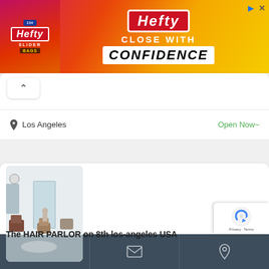[Figure (illustration): Hefty Slider Bags advertisement banner. Red/magenta to yellow gradient background. Left side shows Hefty Slider bag product. Right side shows 'Hefty' brand name in white on red rectangle, 'CLOSE WITH' in white text, 'CONFIDENCE' in black text on white rectangle.]
Los Angeles
Open Now~
[Figure (photo): Interior photo of a hair salon showing styling chairs, mirrors, and a bright open space with light-colored walls and floors.]
The HAIR PARLOR on 8th los-angeles USA